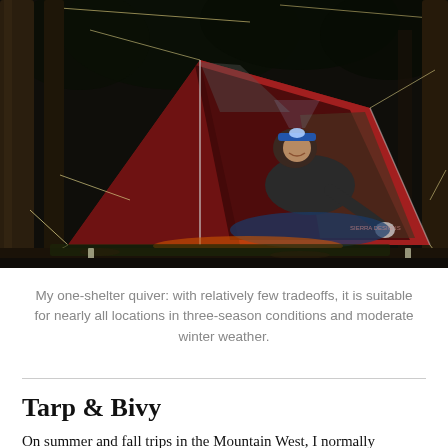[Figure (photo): A person sitting inside a red triangular backpacking tent at night in a forest, with trees visible on either side and guy lines extending from the tent. The tent door is open revealing the person inside wearing a headlamp.]
My one-shelter quiver: with relatively few tradeoffs, it is suitable for nearly all locations in three-season conditions and moderate winter weather.
Tarp & Bivy
On summer and fall trips in the Mountain West, I normally